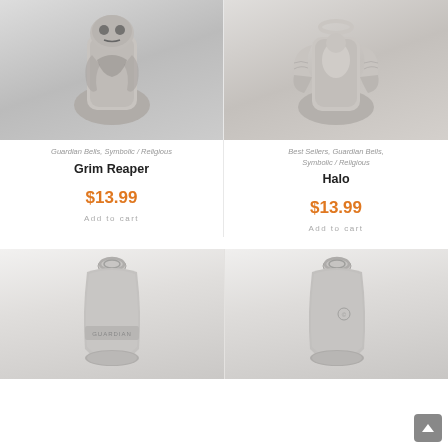[Figure (photo): Silver Grim Reaper guardian bell, top view showing skull and skeleton design]
[Figure (photo): Silver Halo guardian bell, top view showing angel with wings design]
Guardian Bells, Symbolic / Religious
Best Sellers, Guardian Bells, Symbolic / Religious
Grim Reaper
Halo
$13.99
$13.99
Add to cart
Add to cart
[Figure (photo): Silver guardian bell bottom view showing ring and Guardian text]
[Figure (photo): Silver guardian bell bottom view showing ring and copyright mark]